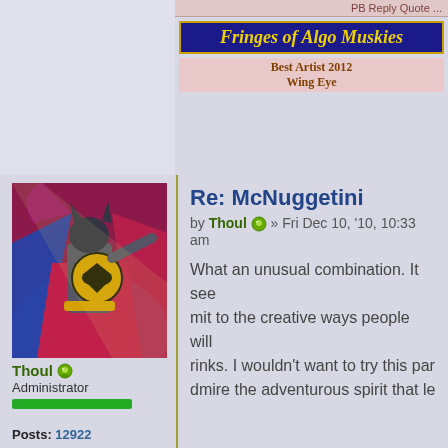PB Reply Quote etc.
Fringes of Algo Muskies
Best Artist 2012
Wing Eye
[Figure (illustration): Batman avatar image — comic book style Batman in action pose with yellow bat symbol, purple/red background]
Re: McNuggetini
by Thoul » Fri Dec 10, '10, 10:33 am
What an unusual combination. It see... mit to the creative ways people will... rinks. I wouldn't want to try this par... dmire the adventurous spirit that le...
Thoul
Administrator
Posts: 12922
Joined: March 2007
Location: USA
Achievements: